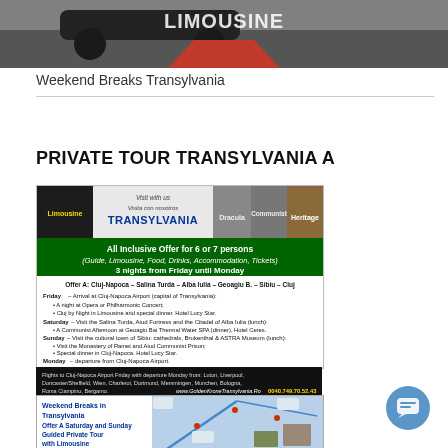[Figure (photo): Top banner showing a dark car/limousine with a red carpet, text overlay partially visible at top]
Weekend Breaks Transylvania
PRIVATE TOUR TRANSYLVANIA A
[Figure (infographic): Tour advertisement for Private Tour Transylvania A showing limousine, Dracula, Communist, Heritage image strips, all-inclusive offer for 6 or 7 persons, 3 nights Friday to Monday, itinerary from Cluj-Napoca to Salina Turda, Alba Iulia, Geoagiu B., Sibiu, Cluj, with flight departure cities and website www.GoldenKroneTransylvania.Ro and phone 0040.749.70.52.43]
[Figure (photo): Weekend Breaks in Transylvania - Offer A Saturday and Sunday Guided Private Tour with Limousine - showing a map with route and small photos of limousine and landmarks]